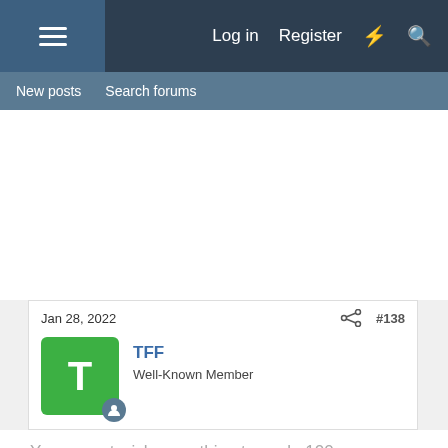Log in  Register
New posts  Search forums
Jan 28, 2022  #138
TFF
Well-Known Member
You cannot wish something to work. 100 years ago early helicopter inventors were trying to gather data for